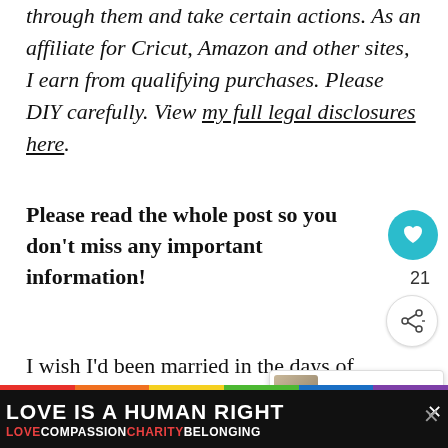through them and take certain actions. As an affiliate for Cricut, Amazon and other sites, I earn from qualifying purchases. Please DIY carefully. View my full legal disclosures here.
Please read the whole post so you don't miss any important information!
I wish I'd been married in the days of Pinterest; I would have had SO MU... planning my wedding. The other day, I was
[Figure (other): WHAT'S NEXT -> Quick And Easy DIY... thumbnail box with book image]
[Figure (other): Heart/like button (teal circle with heart icon) and count 21, and share button]
[Figure (other): LOVE IS A HUMAN RIGHT banner with rainbow stripe and LOVE COMPASSION CHARITY BELONGING text]